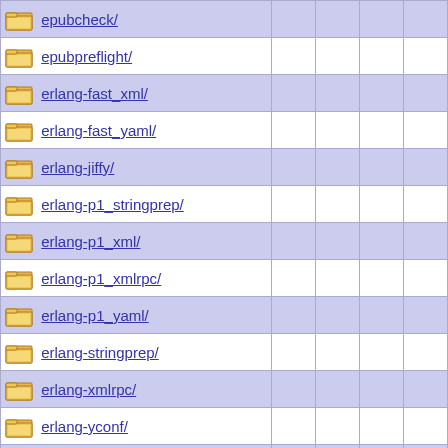epubcheck/
epubpreflight/
erlang-fast_xml/
erlang-fast_yaml/
erlang-jiffy/
erlang-p1_stringprep/
erlang-p1_xml/
erlang-p1_xmlrpc/
erlang-p1_yaml/
erlang-stringprep/
erlang-xmlrpc/
erlang-yconf/
expat/
expatobjc/
exml/